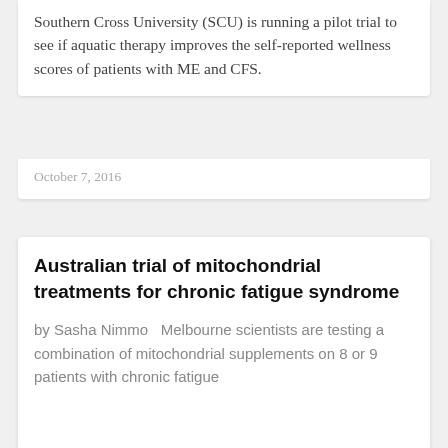Southern Cross University (SCU) is running a pilot trial to see if aquatic therapy improves the self-reported wellness scores of patients with ME and CFS.
October 7, 2016
Australian trial of mitochondrial treatments for chronic fatigue syndrome
by Sasha Nimmo   Melbourne scientists are testing a combination of mitochondrial supplements on 8 or 9 patients with chronic fatigue